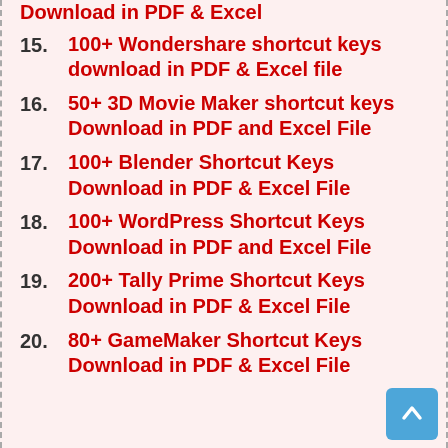Download in PDF & Excel (partial, top cut off)
15. 100+ Wondershare shortcut keys download in PDF & Excel file
16. 50+ 3D Movie Maker shortcut keys Download in PDF and Excel File
17. 100+ Blender Shortcut Keys Download in PDF & Excel File
18. 100+ WordPress Shortcut Keys Download in PDF and Excel File
19. 200+ Tally Prime Shortcut Keys Download in PDF & Excel File
20. 80+ GameMaker Shortcut Keys Download in PDF & Excel File